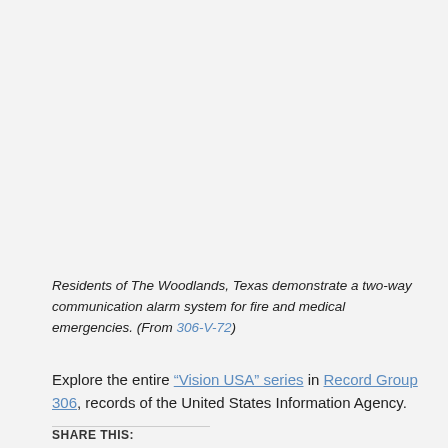Residents of The Woodlands, Texas demonstrate a two-way communication alarm system for fire and medical emergencies. (From 306-V-72)
Explore the entire "Vision USA" series in Record Group 306, records of the United States Information Agency.
SHARE THIS: